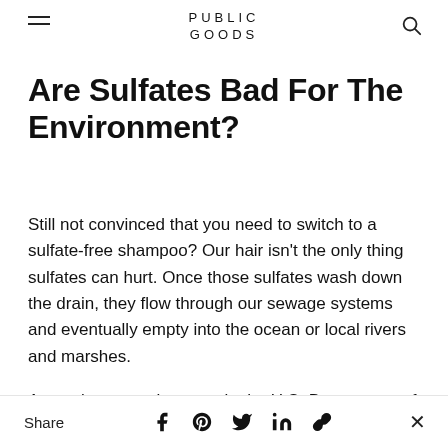PUBLIC GOODS
Are Sulfates Bad For The Environment?
Still not convinced that you need to switch to a sulfate-free shampoo? Our hair isn't the only thing sulfates can hurt. Once those sulfates wash down the drain, they flow through our sewage systems and eventually empty into the ocean or local rivers and marshes.
An environmental agency in the U.S. Department of the Interior recently demonstrated that sulfates are
Share